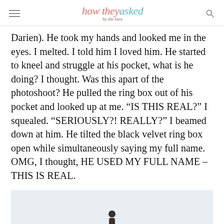how they asked by the knot
Darien). He took my hands and looked me in the eyes. I melted. I told him I loved him. He started to kneel and struggle at his pocket, what is he doing? I thought. Was this apart of the photoshoot? He pulled the ring box out of his pocket and looked up at me. “IS THIS REAL?” I squealed. “SERIOUSLY?! REALLY?” I beamed down at him. He tilted the black velvet ring box open while simultaneously saying my full name. OMG, I thought, HE USED MY FULL NAME – THIS IS REAL.
[Figure (photo): A person standing in an outdoor setting, visible from roughly the waist up, appearing small against a light sky/background. The photo is partially cut off at the bottom of the page.]